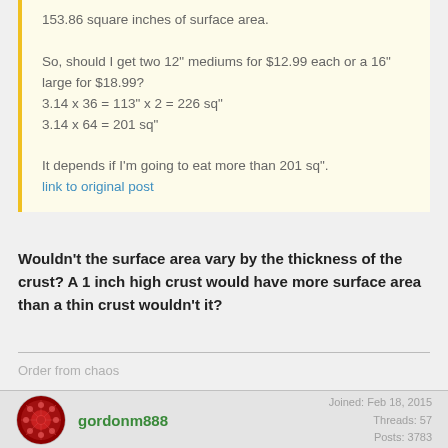153.86 square inches of surface area.

So, should I get two 12" mediums for $12.99 each or a 16" large for $18.99?
3.14 x 36 = 113" x 2 = 226 sq"
3.14 x 64 = 201 sq"

It depends if I'm going to eat more than 201 sq".
link to original post
Wouldn't the surface area vary by the thickness of the crust? A 1 inch high crust would have more surface area than a thin crust wouldn't it?
Order from chaos
gordonm888
Joined: Feb 18, 2015
Threads: 57
Posts: 3783